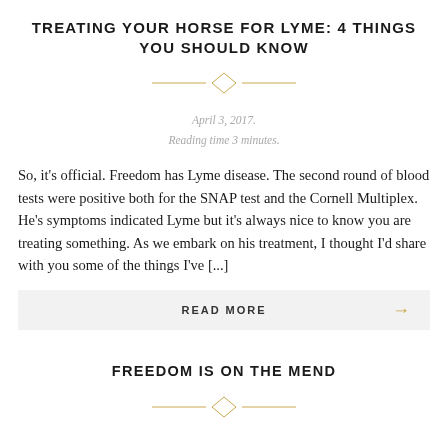TREATING YOUR HORSE FOR LYME: 4 THINGS YOU SHOULD KNOW
April 3, 2017.
Reading time 3 minutes.
So, it's official. Freedom has Lyme disease. The second round of blood tests were positive both for the SNAP test and the Cornell Multiplex. He's symptoms indicated Lyme but it's always nice to know you are treating something. As we embark on his treatment, I thought I'd share with you some of the things I've [...]
READ MORE →
FREEDOM IS ON THE MEND